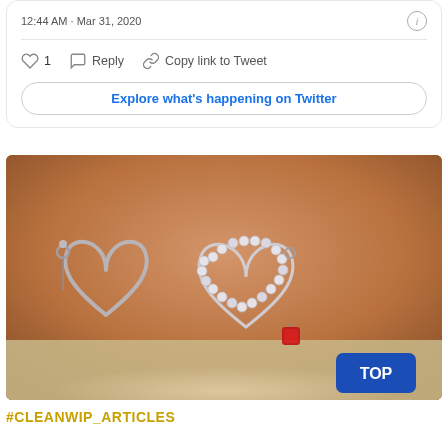12:44 AM · Mar 31, 2020
1   Reply   Copy link to Tweet
Explore what's happening on Twitter
[Figure (photo): Close-up photo of two interlinked heart-shaped earrings — one plain silver wire heart and one encrusted with rhinestone crystals — with a small red gemstone charm hanging from the right side, on a warm brown blurred background. A blue 'TOP' button overlay is in the bottom right.]
#CLEANWIP_ARTICLES